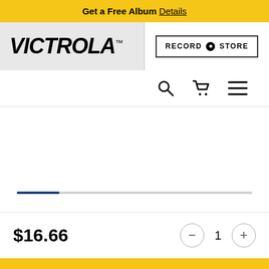Get a Free Album Details
[Figure (logo): Victrola brand logo in bold italic uppercase letters with trademark symbol]
[Figure (other): Record Store button with a record/vinyl icon between the words]
[Figure (other): Navigation icons: search magnifying glass, shopping cart, and hamburger menu]
[Figure (other): Product image area with a horizontal progress bar showing approximately 18% filled in dark blue]
$16.66
1
Add to Cart